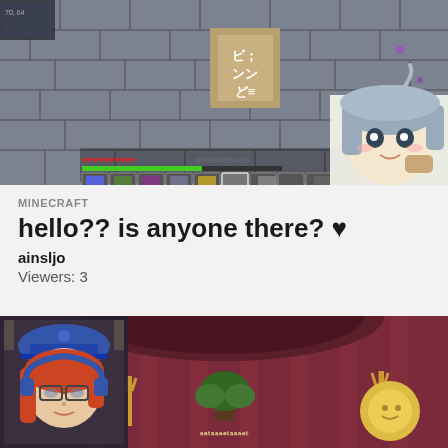[Figure (screenshot): Minecraft gameplay screenshot showing stone brick dungeon interior with Japanese characters on a sign, player HUD with health bar and inventory at bottom, and an anime-style character face (blue hair, round eyes) in the bottom right corner]
MINECRAFT
hello?? is anyone there? ♥
ainsljo
Viewers: 3
[Figure (screenshot): Stream thumbnail showing a game with a reddish-pink ornate room background, a streamer webcam in the bottom left showing a woman with red/auburn hair and a blue hat, and game UI elements including trident decorations and a sun-like object]